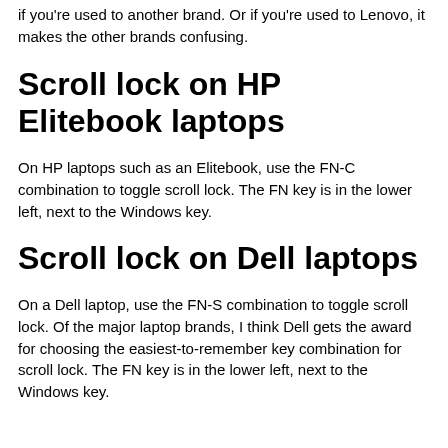if you're used to another brand. Or if you're used to Lenovo, it makes the other brands confusing.
Scroll lock on HP Elitebook laptops
On HP laptops such as an Elitebook, use the FN-C combination to toggle scroll lock. The FN key is in the lower left, next to the Windows key.
Scroll lock on Dell laptops
On a Dell laptop, use the FN-S combination to toggle scroll lock. Of the major laptop brands, I think Dell gets the award for choosing the easiest-to-remember key combination for scroll lock. The FN key is in the lower left, next to the Windows key.